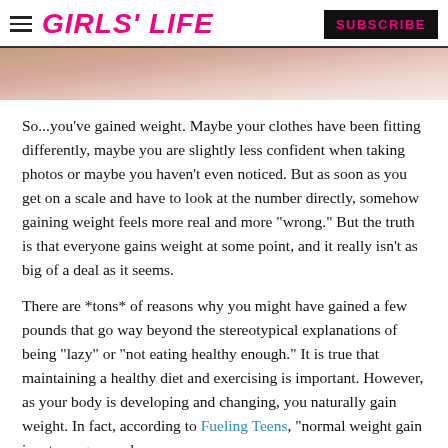GIRLS' LIFE   SUBSCRIBE
[Figure (photo): Partial cropped photo of a person, pink tones, top portion visible]
So...you've gained weight. Maybe your clothes have been fitting differently, maybe you are slightly less confident when taking photos or maybe you haven't even noticed. But as soon as you get on a scale and have to look at the number directly, somehow gaining weight feels more real and more "wrong." But the truth is that everyone gains weight at some point, and it really isn't as big of a deal as it seems.
There are *tons* of reasons why you might have gained a few pounds that go way beyond the stereotypical explanations of being "lazy" or "not eating healthy enough." It is true that maintaining a healthy diet and exercising is important. However, as your body is developing and changing, you naturally gain weight. In fact, according to Fueling Teens, "normal weight gain in a teenager can be